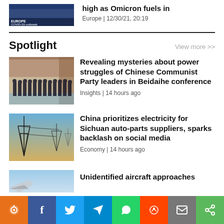[Figure (photo): Thumbnail image with text overlay: EUROPE / COVID-19 outbreak]
high as Omicron fuels in
Europe | 12/30/21, 20:19
Spotlight
View more >>
[Figure (photo): Group of Chinese Communist Party leaders standing in formal attire in a large hall]
Revealing mysteries about power struggles of Chinese Communist Party leaders in Beidaihe conference
Insights | 14 hours ago
[Figure (photo): Electricity transmission towers/pylons against a sunset sky]
China prioritizes electricity for Sichuan auto-parts suppliers, sparks backlash on social media
Economy | 14 hours ago
[Figure (photo): Partial view of aircraft against blue sky]
Unidentified aircraft approaches